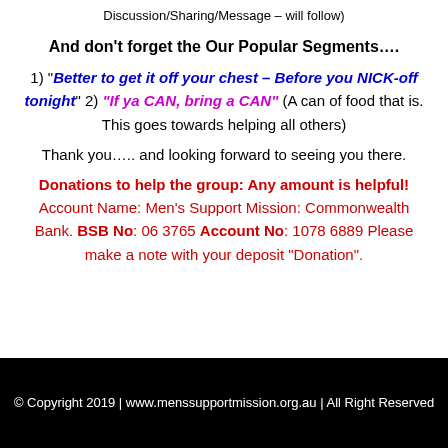Discussion/Sharing/Message – will follow)
And don't forget the Our Popular Segments....
1) "Better to get it off your chest – Before you NICK-off tonight" 2) "If ya CAN, bring a CAN" (A can of food that is. This goes towards helping all others)
Thank you….. and looking forward to seeing you there.
Donations to help the group: Any amount is helpful! Account Name: Men's Support Mission: Commonwealth Bank. BSB No: 06 3765 Account No: 1078 6889 Please make a note with your deposit "Donation".
© Copyright 2019 | www.menssupportmission.org.au | All Right Reserved